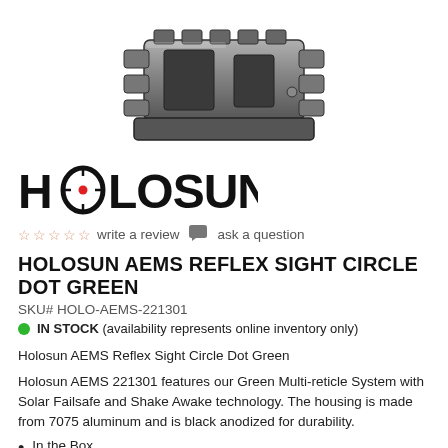[Figure (photo): Product photo of Holosun AEMS Reflex Sight, showing a black aluminum housing mount from a three-quarter angle view against white background.]
[Figure (logo): Holosun brand logo in black bold text with a crosshair/scope reticle icon (with red center dot) replacing the letter O in HOLOSUN.]
☆☆☆☆☆  write a review  💬  ask a question
HOLOSUN AEMS REFLEX SIGHT CIRCLE DOT GREEN
SKU# HOLO-AEMS-221301
● IN STOCK (availability represents online inventory only)
Holosun AEMS Reflex Sight Circle Dot Green
Holosun AEMS 221301 features our Green Multi-reticle System with Solar Failsafe and Shake Awake technology. The housing is made from 7075 aluminum and is black anodized for durability.
In the Box